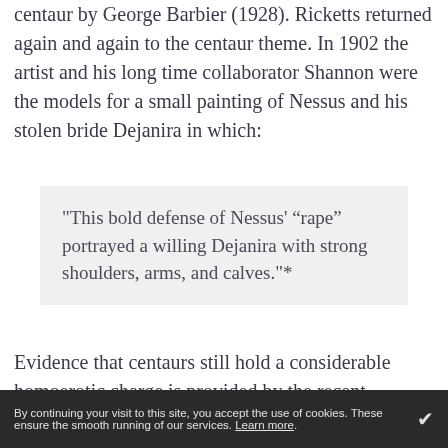centaur by George Barbier (1928). Ricketts returned again and again to the centaur theme. In 1902 the artist and his long time collaborator Shannon were the models for a small painting of Nessus and his stolen bride Dejanira in which:
"This bold defense of Nessus' “rape” portrayed a willing Dejanira with strong shoulders, arms, and calves."*
Evidence that centaurs still hold a considerable homoerotic charge is provided by the recent phenomenon of 'boytaurs'. They are celebrated in a somewhat indecent website featuring
multilimbers, shapeshifters, and their
By continuing your visit to this site, you accept the use of cookies. These ensure the smooth running of our services. Learn more.